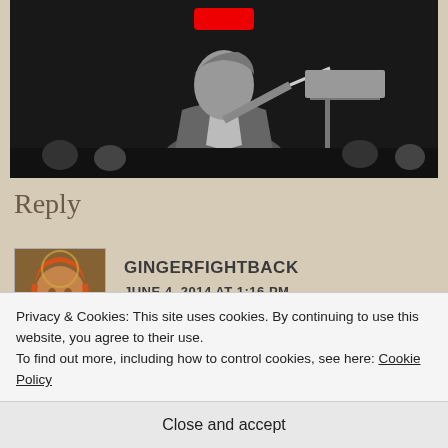[Figure (screenshot): Black and white video thumbnail showing a man in a suit holding what appears to be a conductor's baton or stick, with a music stand or podium visible. A red play button is visible at the top center.]
Reply
[Figure (photo): Small square avatar image of a person with orange/red hair wearing dark clothing, styled like a medieval painting.]
GINGERFIGHTBACK
JUNE 4, 2014 AT 1:16 PM
Absolute Shower!
Privacy & Cookies: This site uses cookies. By continuing to use this website, you agree to their use.
To find out more, including how to control cookies, see here: Cookie Policy
Close and accept